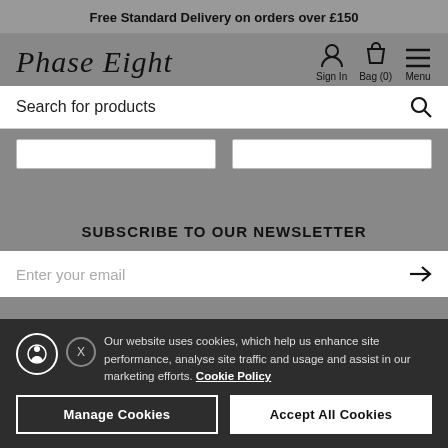Free Standard Delivery on orders over £150
[Figure (logo): Phase Eight logo in cursive script]
Sign In   Bag (0)   Menu
Search for products
SUBSCRIBE TO OUR NEWSLETTER
Enter your email
Our website uses cookies, which help us enhance site performance, analyse site traffic and usage and assist in our marketing efforts. Cookie Policy
Manage Cookies
Accept All Cookies